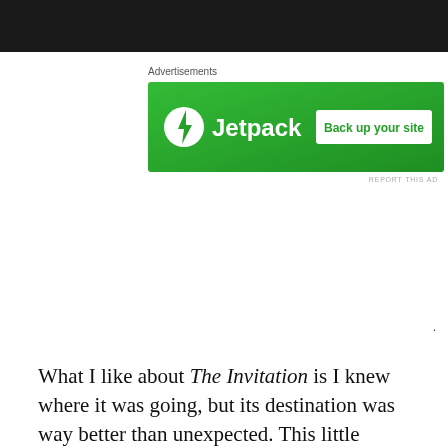[Figure (photo): Dark photograph strip at the top of the page]
Advertisements
[Figure (other): Jetpack advertisement banner with green background, Jetpack logo on left and 'Back up your site' white button on right]
REPORT THIS AD
What I like about The Invitation is I knew where it was going, but its destination was way better than unexpected. This little horror(ish) film takes its time and if you didn't know about it beforehand you would expect this is simply another good-looking people at a dinner party film (is that a genre?). Director Karyn Kusama has made a film that delivers one of the best horror endings I've seen in years. She builds slowly and confidently and trusts her leading man Logan Marshall-Green to deliver a subtle